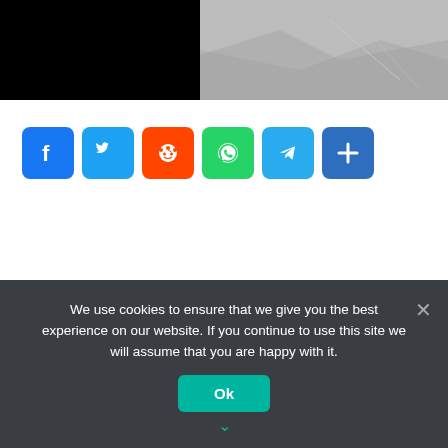[Figure (photo): Top banner image split into two halves: left half is solid black, right half shows a grayscale/grey textured surface resembling fabric or paper.]
[Figure (infographic): Social media share buttons row: Facebook (blue), Twitter (light blue), Reddit (orange-red), WhatsApp (green), Telegram (blue), and a Share/More button (dark blue).]
We use cookies to ensure that we give you the best experience on our website. If you continue to use this site we will assume that you are happy with it.